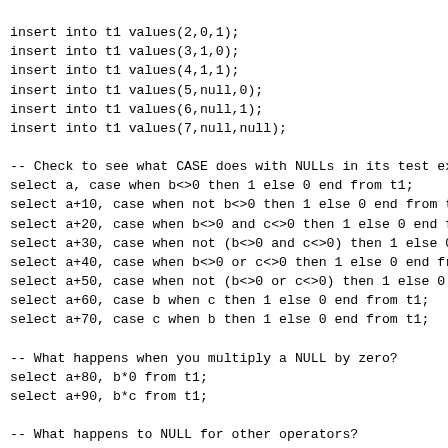insert into t1 values(2,0,1);
insert into t1 values(3,1,0);
insert into t1 values(4,1,1);
insert into t1 values(5,null,0);
insert into t1 values(6,null,1);
insert into t1 values(7,null,null);

-- Check to see what CASE does with NULLs in its test exp
select a, case when b<>0 then 1 else 0 end from t1;
select a+10, case when not b<>0 then 1 else 0 end from t1
select a+20, case when b<>0 and c<>0 then 1 else 0 end fr
select a+30, case when not (b<>0 and c<>0) then 1 else 0 
select a+40, case when b<>0 or c<>0 then 1 else 0 end fro
select a+50, case when not (b<>0 or c<>0) then 1 else 0 e
select a+60, case b when c then 1 else 0 end from t1;
select a+70, case c when b then 1 else 0 end from t1;

-- What happens when you multiply a NULL by zero?
select a+80, b*0 from t1;
select a+90, b*c from t1;

-- What happens to NULL for other operators?
select a+100, b+c from t1;

-- Test the treatment of aggregate operators
select count(*), count(b), sum(b), avg(b), min(b), max(b)

-- Check the behavior of NULLs in WHERE clauses
select a+110 from t1 where b<10;
select a+120 from t1 where not b>10;